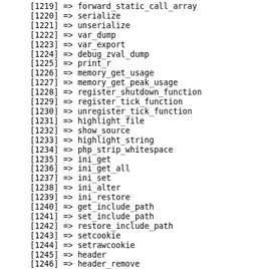[1219] => forward_static_call_array
[1220] => serialize
[1221] => unserialize
[1222] => var_dump
[1223] => var_export
[1224] => debug_zval_dump
[1225] => print_r
[1226] => memory_get_usage
[1227] => memory_get_peak_usage
[1228] => register_shutdown_function
[1229] => register_tick_function
[1230] => unregister_tick_function
[1231] => highlight_file
[1232] => show_source
[1233] => highlight_string
[1234] => php_strip_whitespace
[1235] => ini_get
[1236] => ini_get_all
[1237] => ini_set
[1238] => ini_alter
[1239] => ini_restore
[1240] => get_include_path
[1241] => set_include_path
[1242] => restore_include_path
[1243] => setcookie
[1244] => setrawcookie
[1245] => header
[1246] => header_remove
[1247] => headers_sent
[1248] => headers_list